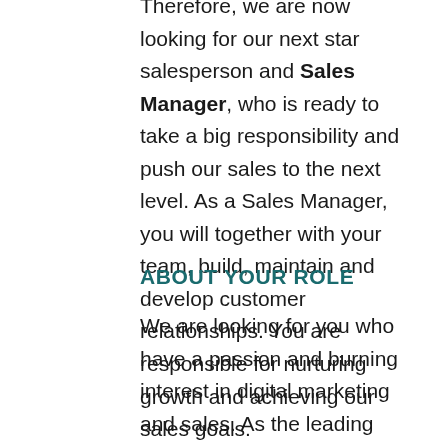Therefore, we are now looking for our next star salesperson and Sales Manager, who is ready to take a big responsibility and push our sales to the next level. As a Sales Manager, you will together with your team, build, maintain and develop customer relationships. You are responsible for nurturing growth and achieving our sales goals.
ABOUT YOUR ROLE
We are looking for you who have a passion and burning interest in digital marketing and sales. As the leading Sales Manager at Seger Marketing, you are responsible for new customer acquisition and making sure that we